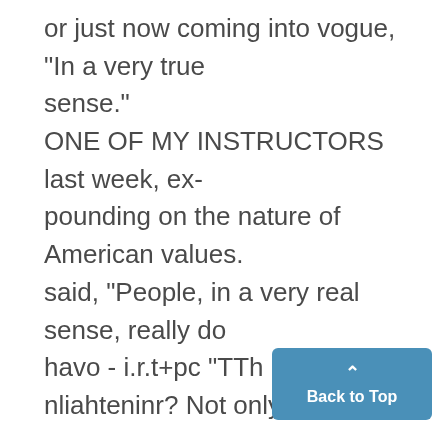or just now coming into vogue, "In a very true sense." ONE OF MY INSTRUCTORS last week, ex-pounding on the nature of American values. said, "People, in a very real sense, really do havo - i.r.t+pc "TTh nliahteninr? Not only

that while lying to the American people, Rich-ard Nixon did so in a very false sense. This would denote how false his lie was. No, take that back; he lied in a very and
[Figure (other): Blue 'Back to Top' button with upward caret arrow icon]